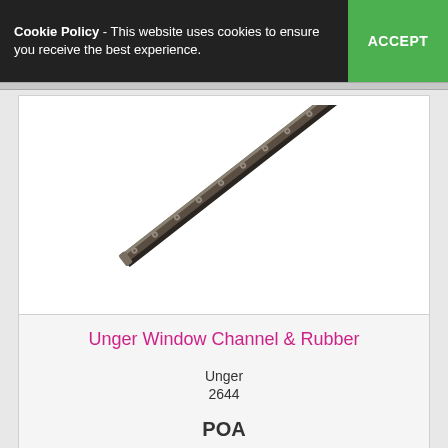Cookie Policy - This website uses cookies to ensure you receive the best experience.
ACCEPT
[Figure (photo): A diagonal squeegee channel and rubber strip product photo on white background, oriented from lower-left to upper-right. Dark metal channel with rubber blade.]
Unger Window Channel & Rubber
Unger
2644
POA